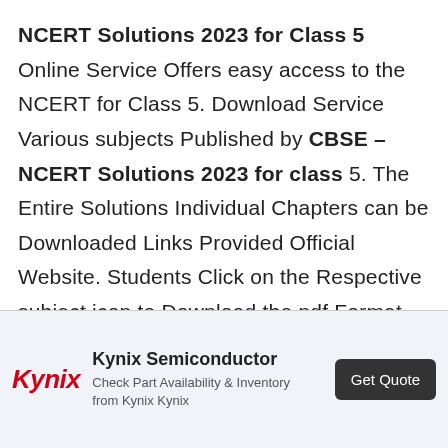NCERT Solutions 2023 for Class 5 Online Service Offers easy access to the NCERT for Class 5. Download Service Various subjects Published by CBSE – NCERT Solutions 2023 for class 5. The Entire Solutions Individual Chapters can be Downloaded Links Provided Official Website. Students Click on the Respective subject icon to Download the pdf Format Chapter Wise Solutions. There is
[Figure (other): Kynix Semiconductor advertisement banner with Kynix logo in red italic, ad title 'Kynix Semiconductor', subtitle 'Check Part Availability & Inventory from Kynix Kynix', and a dark 'Get Quote' button. AdChoices triangle icon and close X button visible.]